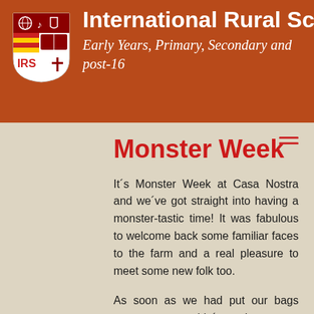International Rural School — Early Years, Primary, Secondary and post-16
Monster Week
It´s Monster Week at Casa Nostra and we´ve got straight into having a monster-tastic time! It was fabulous to welcome back some familiar faces to the farm and a real pleasure to meet some new folk too.
As soon as we had put our bags away, we couldn´t wait to get colouring crazy monster pictures. We even had a go at designing our own monster faces with eyes in the